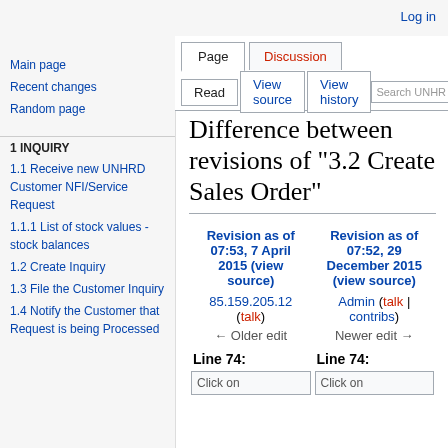Log in
Page | Discussion | Read | View source | View history | Search UNHR
Difference between revisions of "3.2 Create Sales Order"
| Revision as of 07:53, 7 April 2015 (view source) | Revision as of 07:52, 29 December 2015 (view source) |
| --- | --- |
| 85.159.205.12 (talk) | Admin (talk | contribs) |
| ← Older edit | Newer edit → |
| Line 74: | Line 74: |
| Click on | Click on |
Main page
Recent changes
Random page
1 INQUIRY
1.1 Receive new UNHRD Customer NFI/Service Request
1.1.1 List of stock values - stock balances
1.2 Create Inquiry
1.3 File the Customer Inquiry
1.4 Notify the Customer that Request is being Processed